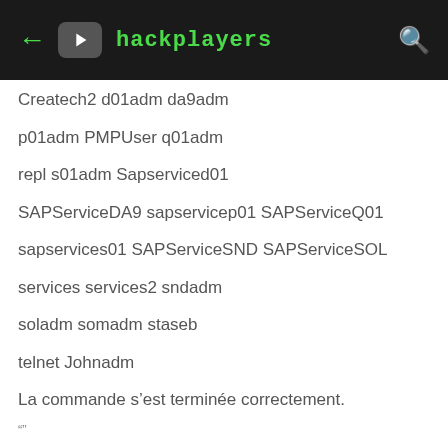hackplayers
Createch2 d01adm da9adm
p01adm PMPUser q01adm
repl s01adm Sapserviced01
SAPServiceDA9 sapservicep01 SAPServiceQ01
sapservices01 SAPServiceSND SAPServiceSOL
services services2 sndadm
soladm somadm staseb
telnet Johnadm
La commande s'est terminée correctement.
""
We look and see with our eyes filtering service accounts and non-service ones.